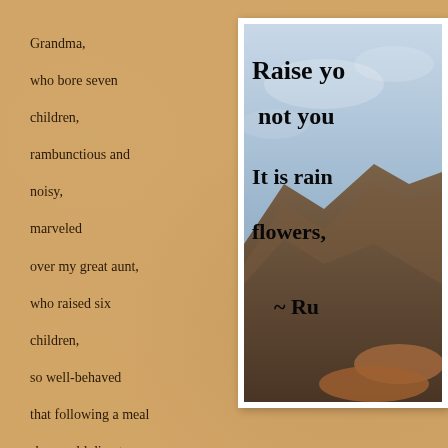Grandma,
who bore seven
children,
rambunctious and
noisy,
marveled
over my great aunt,
who raised six
children,
so well-behaved
that following a meal
she would direct
them
once
in a very soft
voice…
they would
immediately
clear the table
[Figure (photo): A partially visible photo showing a handwritten quote over a mountain/sky landscape background. The visible text reads: 'Raise yo[ur words,] not you[r voice,] It is rai[n that] flowers,' attributed to '~ Ru[mi]']